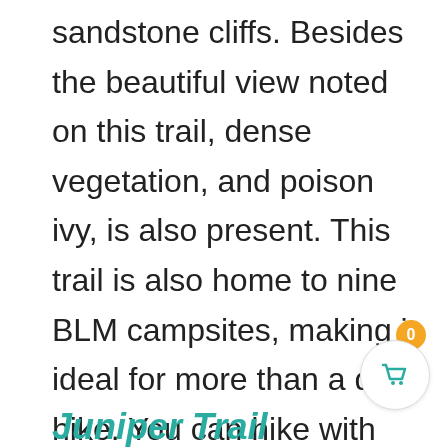sandstone cliffs. Besides the beautiful view noted on this trail, dense vegetation, and poison ivy, is also present. This trail is also home to nine BLM campsites, making it ideal for more than a day hike. You can hike with your dogs on this trail as long as they are appropriately leashed.
Juniper Trail